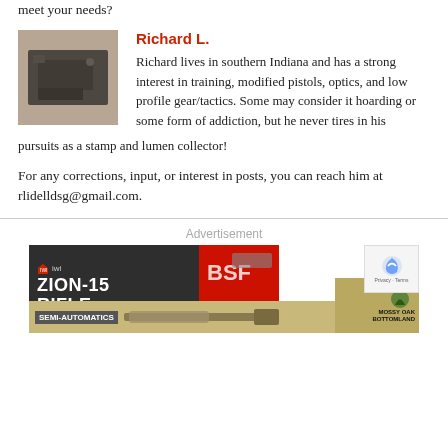meet your needs?
Richard L.
[Figure (photo): Photo of a black pistol on a rocky/sandy surface]
Richard lives in southern Indiana and has a strong interest in training, modified pistols, optics, and low profile gear/tactics. Some may consider it hoarding or some form of addiction, but he never tires in his pursuits as a stamp and lumen collector!
For any corrections, input, or interest in posts, you can reach him at rlidelldsg@gmail.com.
Advertisement
[Figure (screenshot): Advertisement banner with IWI ZION-15 Rifle, semi-automatics, and Mossy Oak Bottomland branding]